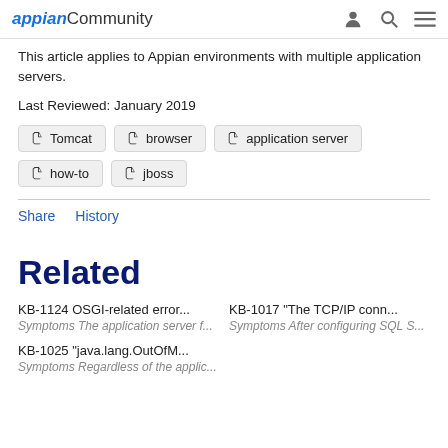appian Community
This article applies to Appian environments with multiple application servers.
Last Reviewed: January 2019
Tomcat
browser
application server
how-to
jboss
Share   History
Related
KB-1124 OSGI-related error...
Symptoms The application server f...
KB-1017 "The TCP/IP conn...
Symptoms After configuring SQL S...
KB-1025 "java.lang.OutOfM...
Symptoms Regardless of the applic...